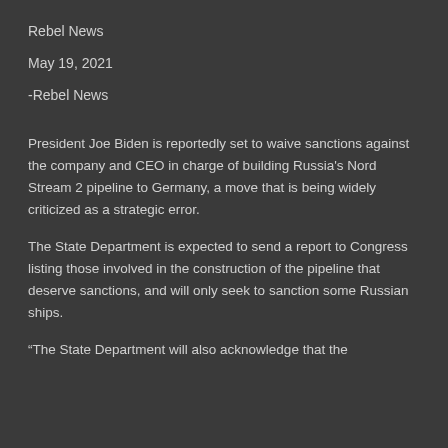Rebel News
May 19, 2021
-Rebel News
President Joe Biden is reportedly set to waive sanctions against the company and CEO in charge of building Russia's Nord Stream 2 pipeline to Germany, a move that is being widely criticized as a strategic error.
The State Department is expected to send a report to Congress listing those involved in the construction of the pipeline that deserve sanctions, and will only seek to sanction some Russian ships.
“The State Department will also acknowledge that the